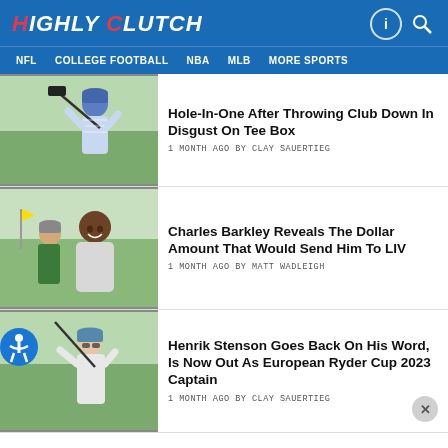HIGHLY CLUTCH
NFL   COLLEGE FOOTBALL   NBA   MLB   MORE SPORTS
[Figure (photo): Golfer mid-swing on tee box]
Hole-In-One After Throwing Club Down In Disgust On Tee Box
1 MONTH AGO BY CLAY SAUERTIEG
[Figure (photo): Charles Barkley smiling with caddie on golf course]
Charles Barkley Reveals The Dollar Amount That Would Send Him To LIV
1 MONTH AGO BY MATT WADLEIGH
[Figure (photo): Henrik Stenson mid-swing on golf course]
Henrik Stenson Goes Back On His Word, Is Now Out As European Ryder Cup 2023 Captain
1 MONTH AGO BY CLAY SAUERTIEG